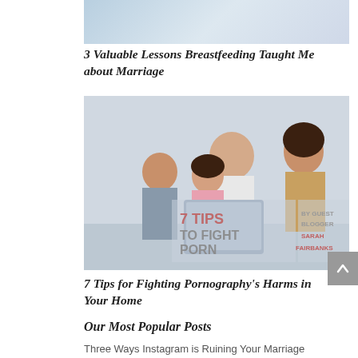[Figure (photo): Partial top image of a woman breastfeeding or holding a baby, cropped at top]
3 Valuable Lessons Breastfeeding Taught Me about Marriage
[Figure (photo): Family of four (father, mother, boy, girl) looking at a tablet together on a couch. Text overlay reads '7 TIPS TO FIGHT PORN' and 'BY GUEST BLOGGER SARAH FAIRBANKS']
7 Tips for Fighting Pornography’s Harms in Your Home
Our Most Popular Posts
Three Ways Instagram is Ruining Your Marriage